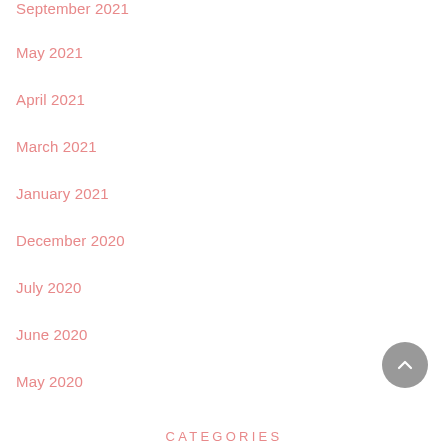September 2021
May 2021
April 2021
March 2021
January 2021
December 2020
July 2020
June 2020
May 2020
CATEGORIES